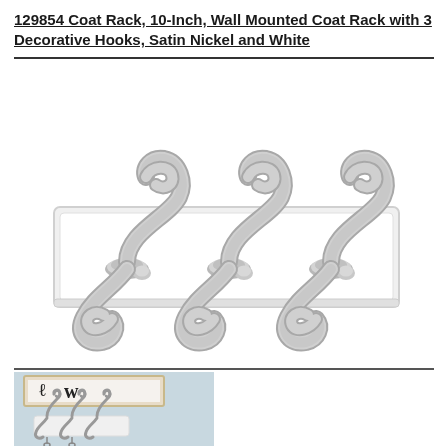129854 Coat Rack, 10-Inch, Wall Mounted Coat Rack with 3 Decorative Hooks, Satin Nickel and White
[Figure (photo): Product photo of a white wall-mounted coat rack with 3 decorative satin nickel S-shaped hooks, viewed from a slight angle on white background.]
[Figure (photo): Lifestyle photo showing the coat rack mounted on a light blue wall below a framed sign, with keys hanging from the hooks.]